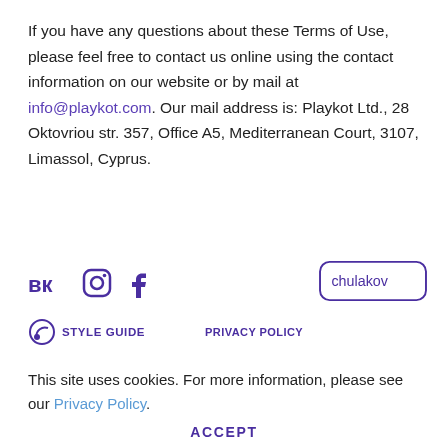If you have any questions about these Terms of Use, please feel free to contact us online using the contact information on our website or by mail at info@playkot.com. Our mail address is: Playkot Ltd., 28 Oktovriou str. 357, Office A5, Mediterranean Court, 3107, Limassol, Cyprus.
[Figure (logo): Social media icons: VK, Instagram, Facebook in purple, and chulakov badge on the right]
STYLE GUIDE   PRIVACY POLICY
This site uses cookies. For more information, please see our Privacy Policy.
ACCEPT